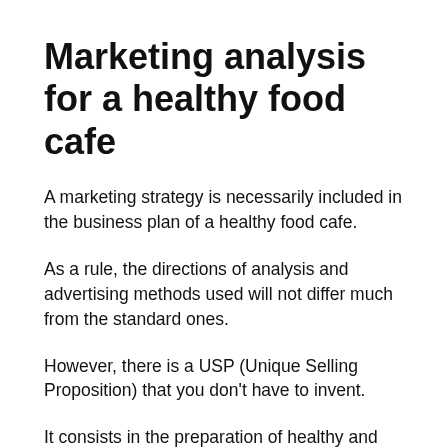Marketing analysis for a healthy food cafe
A marketing strategy is necessarily included in the business plan of a healthy food cafe.
As a rule, the directions of analysis and advertising methods used will not differ much from the standard ones.
However, there is a USP (Unique Selling Proposition) that you don't have to invent.
It consists in the preparation of healthy and exceptionally healthy organic food.
It is worth betting on this when developing a marketing